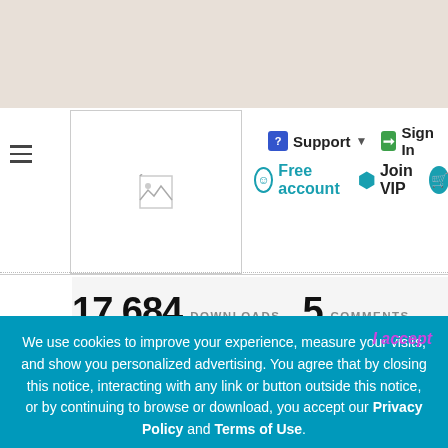[Figure (screenshot): Top beige/tan banner background area of a website]
[Figure (screenshot): Navigation bar with hamburger menu, logo image placeholder, Support dropdown, Sign In, Gift, Free account, Join VIP buttons]
17,684 DOWNLOADS   5 COMMENTS
See more and download
We use cookies to improve your experience, measure your visits, and show you personalized advertising. You agree that by closing this notice, interacting with any link or button outside this notice, or by continuing to browse or download, you accept our Privacy Policy and Terms of Use.
I accept